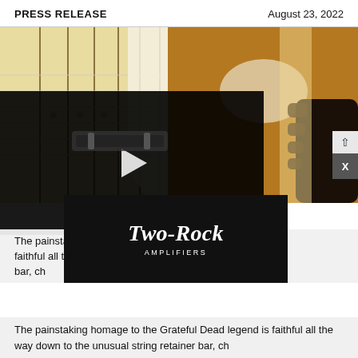PRESS RELEASE | August 23, 2022
[Figure (photo): Close-up photo of a vintage sunburst electric guitar (Stratocaster-style) with maple fretboard, showing the neck and body with a sticker, and a hand fretting the strings. Overlaid with a dark video player thumbnail (showing a guitar bridge piece) with a play button. A Two-Rock Amplifiers logo overlay in a black box appears in the lower center. An X close button and upward arrow appear at the right edge.]
The painstaking homage to the Grateful Dead legend is faithful all the way down to the unusual string retainer bar, ch...